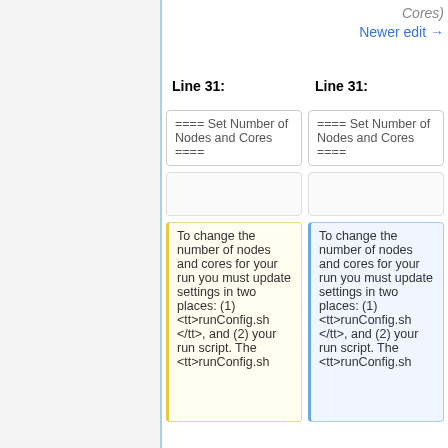Cores)
Newer edit →
Line 31:
Line 31:
==== Set Number of Nodes and Cores ====
==== Set Number of Nodes and Cores ====
To change the number of nodes and cores for your run you must update settings in two places: (1) <tt>runConfig.sh</tt>, and (2) your run script. The <tt>runConfig.sh
To change the number of nodes and cores for your run you must update settings in two places: (1) <tt>runConfig.sh</tt>, and (2) your run script. The <tt>runConfig.sh